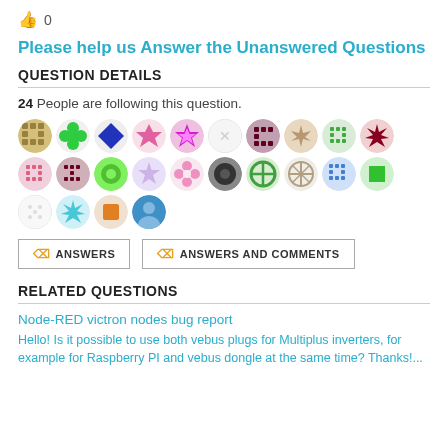👍 0
Please help us Answer the Unanswered Questions
QUESTION DETAILS
24 People are following this question.
[Figure (illustration): Grid of 24 user avatar icons (colorful circular identicons/avatars) arranged in two rows]
☛ ANSWERS  ☛ ANSWERS AND COMMENTS
RELATED QUESTIONS
Node-RED victron nodes bug report
Hello! Is it possible to use both vebus plugs for Multiplus inverters, for example for Raspberry PI and vebus dongle at the same time? Thanks!...